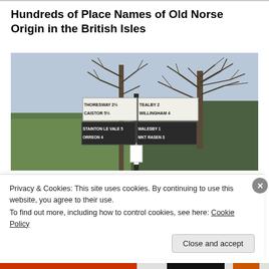Hundreds of Place Names of Old Norse Origin in the British Isles
[Figure (photo): A rural countryside road sign post showing directions and distances: THORESWAY 2½, CAISTOR 5½, TEALBY 2, WILLINGHAM 4, STAINTON LE VALE 5, WALESBY 1, ORREON 4, MKT RASEN 3. Trees with bare branches in the background, green fields visible.]
Privacy & Cookies: This site uses cookies. By continuing to use this website, you agree to their use.
To find out more, including how to control cookies, see here: Cookie Policy
Close and accept